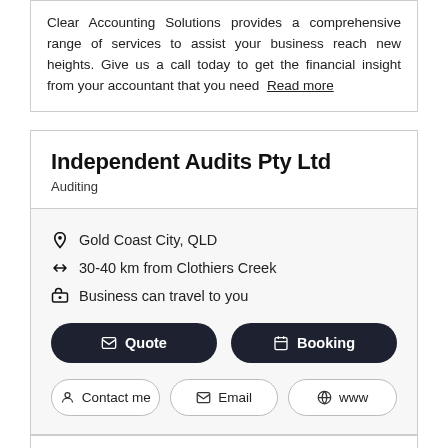Clear Accounting Solutions provides a comprehensive range of services to assist your business reach new heights. Give us a call today to get the financial insight from your accountant that you need  Read more
Independent Audits Pty Ltd
Auditing
Gold Coast City, QLD
30-40 km from Clothiers Creek
Business can travel to you
Quote  Booking  Contact me  Email  www
Independent Audits Pty Ltd team is a specialist audit company based on the Gold Coast and providing Registered Company Auditor services to Australian based entities. Our mission is to provide simple, precise and